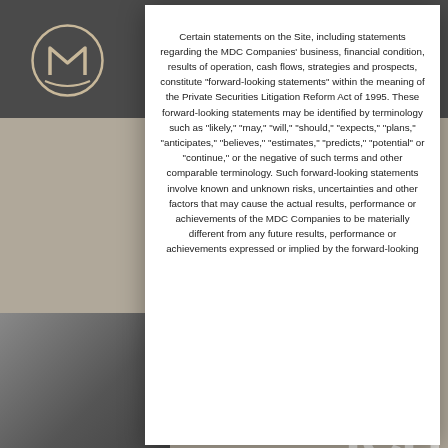[Figure (screenshot): Website screenshot showing MDC Companies investor relations page with a modal dialog overlay containing a forward-looking statements disclaimer. Background shows navigation bar with logo and hamburger menu, large decorative letters, and a person photo in bottom left.]
Certain statements on the Site, including statements regarding the MDC Companies' business, financial condition, results of operation, cash flows, strategies and prospects, constitute "forward-looking statements" within the meaning of the Private Securities Litigation Reform Act of 1995. These forward-looking statements may be identified by terminology such as "likely," "may," "will," "should," "expects," "plans," "anticipates," "believes," "estimates," "predicts," "potential" or "continue," or the negative of such terms and other comparable terminology. Such forward-looking statements involve known and unknown risks, uncertainties and other factors that may cause the actual results, performance or achievements of the MDC Companies to be materially different from any future results, performance or achievements expressed or implied by the forward-looking